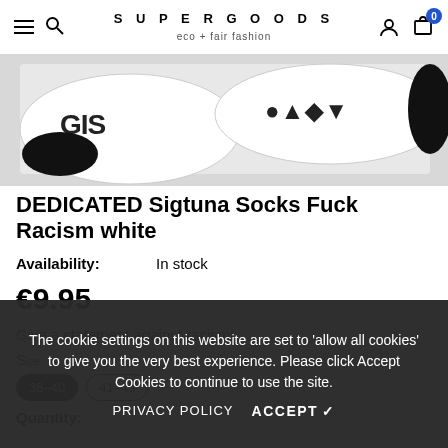SUPERGOODS eco + fair fashion
[Figure (photo): Product photo showing white socks with black leopard print pattern and black toe/heel, partially visible from above on a light grey background]
DEDICATED Sigtuna Socks Fuck Racism white
Availability: In stock
€9.95
Give a statement against racism!
The cookie settings on this website are set to 'allow all cookies' to give you the very best experience. Please click Accept Cookies to continue to use the site.
PRIVACY POLICY   ACCEPT ✓